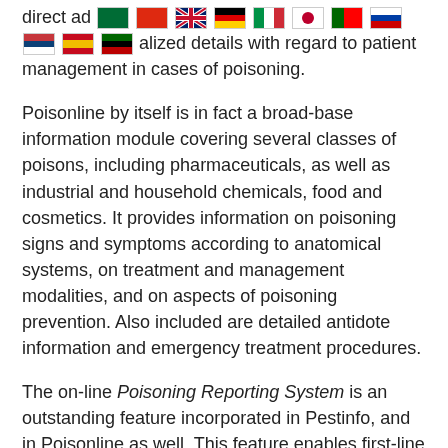direct ad... [flags] ...alized details with regard to patient management in cases of poisoning.
Poisonline by itself is in fact a broad-base information module covering several classes of poisons, including pharmaceuticals, as well as industrial and household chemicals, food and cosmetics. It provides information on poisoning signs and symptoms according to anatomical systems, on treatment and management modalities, and on aspects of poisoning prevention. Also included are detailed antidote information and emergency treatment procedures.
The on-line Poisoning Reporting System is an outstanding feature incorporated in Pestinfo, and in Poisonline as well. This feature enables first-line reporting to be done electronically by the end-user, through a specially designed format, when any case of poisoning is encountered. It not only allows automatic documentation of all the cases reported, but simultaneously acts as an instant referral system which permits follow-up to be